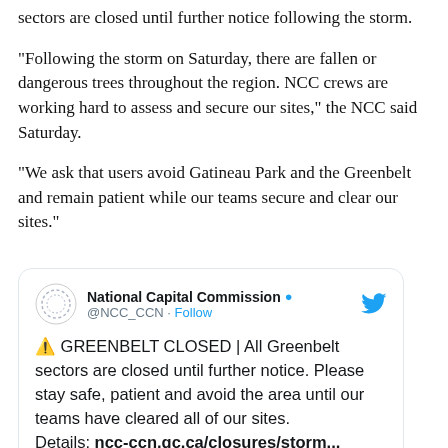sectors are closed until further notice following the storm.
"Following the storm on Saturday, there are fallen or dangerous trees throughout the region. NCC crews are working hard to assess and secure our sites," the NCC said Saturday.
"We ask that users avoid Gatineau Park and the Greenbelt and remain patient while our teams secure and clear our sites."
[Figure (screenshot): Embedded tweet from National Capital Commission (@NCC_CCN) with warning triangle emoji stating: GREENBELT CLOSED | All Greenbelt sectors are closed until further notice. Please stay safe, patient and avoid the area until our teams have cleared all of our sites. Details: ncc-ccn.gc.ca/closures/storm...]